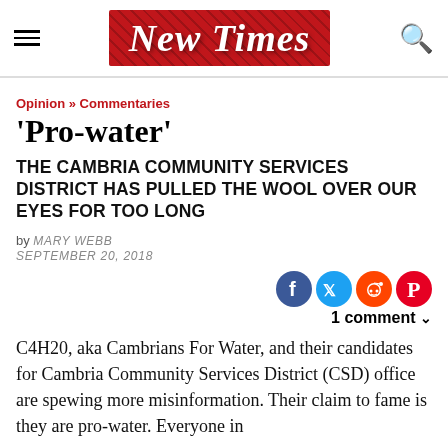New Times
Opinion » Commentaries
'Pro-water'
THE CAMBRIA COMMUNITY SERVICES DISTRICT HAS PULLED THE WOOL OVER OUR EYES FOR TOO LONG
by MARY WEBB
SEPTEMBER 20, 2018
1 comment
C4H20, aka Cambrians For Water, and their candidates for Cambria Community Services District (CSD) office are spewing more misinformation. Their claim to fame is they are pro-water. Everyone in